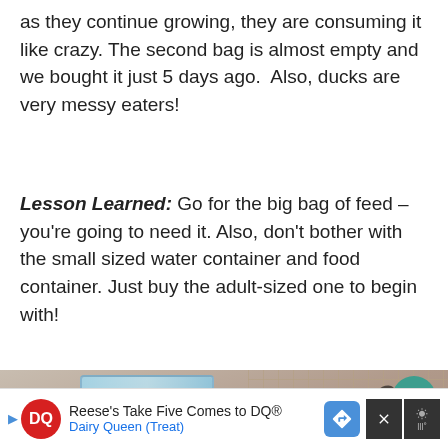as they continue growing, they are consuming it like crazy. The second bag is almost empty and we bought it just 5 days ago.  Also, ducks are very messy eaters!
Lesson Learned: Go for the big bag of feed – you're going to need it. Also, don't bother with the small sized water container and food container. Just buy the adult-sized one to begin with!
[Figure (photo): Photo of a decorated tumbler/cup with duck-related text, next to wooden perches, with wire cage background. A related article card overlay and like/share buttons are visible on the right side.]
Reese's Take Five Comes to DQ®  Dairy Queen (Treat)